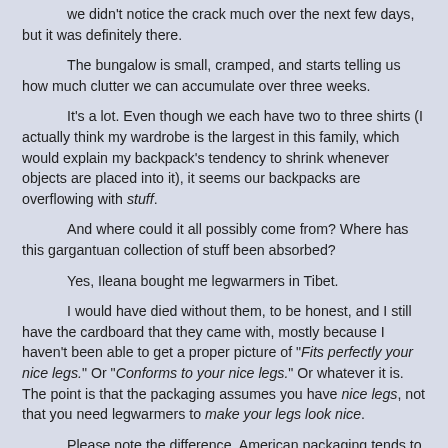we didn't notice the crack much over the next few days, but it was definitely there.
The bungalow is small, cramped, and starts telling us how much clutter we can accumulate over three weeks.
It's a lot. Even though we each have two to three shirts (I actually think my wardrobe is the largest in this family, which would explain my backpack's tendency to shrink whenever objects are placed into it), it seems our backpacks are overflowing with stuff.
And where could it all possibly come from? Where has this gargantuan collection of stuff been absorbed?
Yes, Ileana bought me legwarmers in Tibet.
I would have died without them, to be honest, and I still have the cardboard that they came with, mostly because I haven't been able to get a proper picture of "Fits perfectly your nice legs." Or "Conforms to your nice legs." Or whatever it is. The point is that the packaging assumes you have nice legs, not that you need legwarmers to make your legs look nice.
Please note the difference. American packaging tends to tend toward the second example. I vastly prefer the Tibetan.
I also bought the punjabi in India. Well, okay, Dad did, but I picked it out. The trouble is that the top is a perfect just-above-knee dress for warm climates. When paired with the leggings, it feels a bit like something one